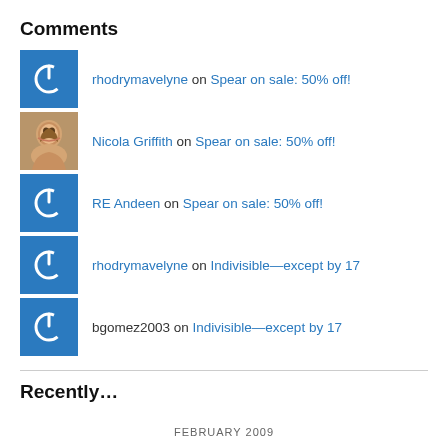Comments
rhodrymavelyne on Spear on sale: 50% off!
Nicola Griffith on Spear on sale: 50% off!
RE Andeen on Spear on sale: 50% off!
rhodrymavelyne on Indivisible—except by 17
bgomez2003 on Indivisible—except by 17
Recently…
FEBRUARY 2009